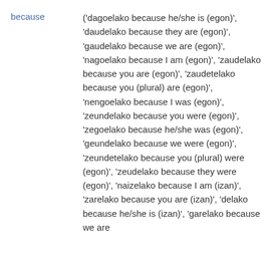because — ('dagoelako because he/she is (egon)', 'daudelako because they are (egon)', 'gaudelako because we are (egon)', 'nagoelako because I am (egon)', 'zaudelako because you are (egon)', 'zaudetelako because you (plural) are (egon)', 'nengoelako because I was (egon)', 'zeundelako because you were (egon)', 'zegoelako because he/she was (egon)', 'geundelako because we were (egon)', 'zeundetelako because you (plural) were (egon)', 'zeudelako because they were (egon)', 'naizelako because I am (izan)', 'zarelako because you are (izan)', 'delako because he/she is (izan)', 'garelako because we are